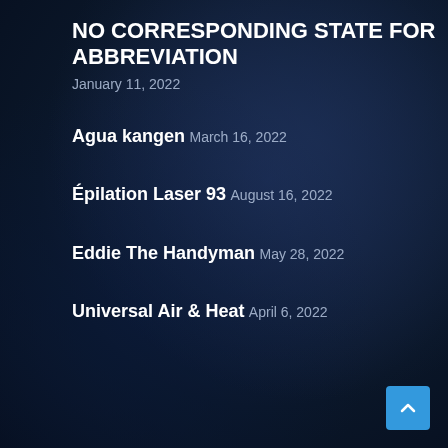NO CORRESPONDING STATE FOR ABBREVIATION
January 11, 2022
Agua kangen
March 16, 2022
Épilation Laser 93
August 16, 2022
Eddie The Handyman
May 28, 2022
Universal Air & Heat
April 6, 2022